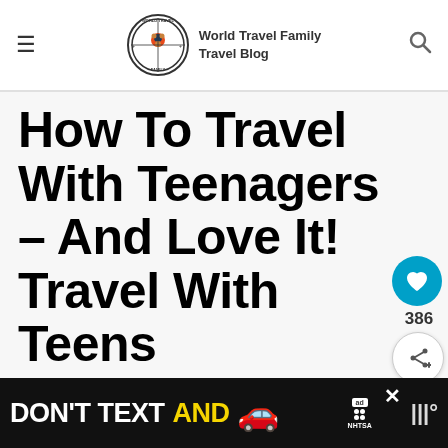World Travel Family Travel Blog
How To Travel With Teenagers – And Love It! Travel With Teens
[Figure (other): Heart/like button (teal circle with heart icon) and share button with count 386]
[Figure (other): What's Next widget with thumbnail image and text: Worldschooling a 15-Year-Old...]
Home » Travel Blog » Travel » How To Travel With Teenagers...
[Figure (other): Ad banner: DON'T TEXT AND [car emoji] with NHTSA logo]